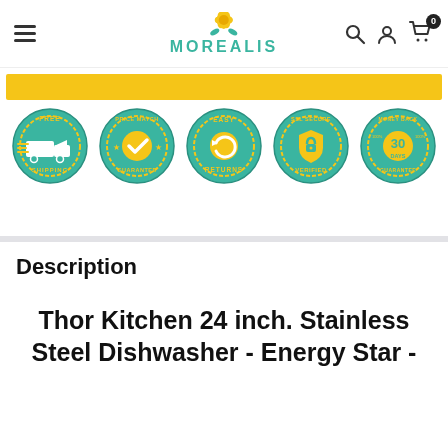MOREALIS
[Figure (infographic): Five trust/guarantee badges in teal and gold: Free Shipping, Price Match Guarantee, Easy Returns, SSL Secure Verified, 30 Days Money Back Guarantee]
Description
Thor Kitchen 24 inch. Stainless Steel Dishwasher - Energy Star -